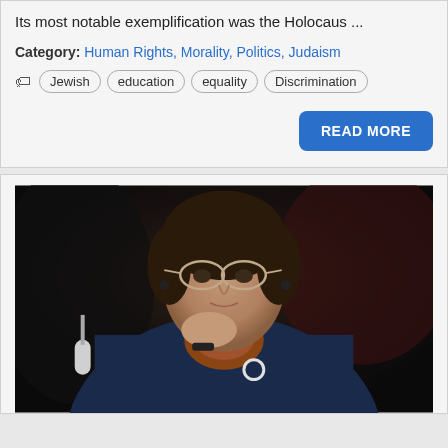Its most notable exemplification was the Holocaus ...
Category: Human Rights, Morality, Politics, Judaism
Jewish  education  equality  Discrimination
READ MORE
[Figure (photo): A woman with glasses, wearing a dark navy blazer and patterned scarf/tie, resting her chin on her hand, seated in front of a microphone. She has short dark hair and is wearing earrings and a circular brooch.]